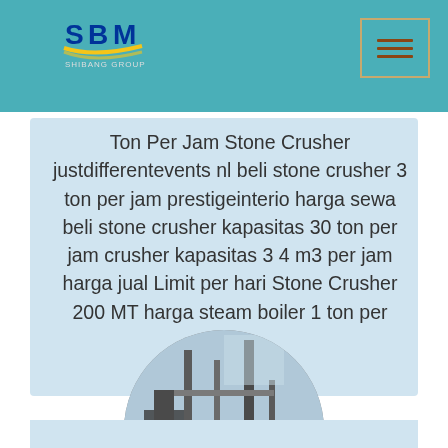SBM Shibang Group
Ton Per Jam Stone Crusher justdifferentevents nl beli stone crusher 3 ton per jam prestigeinterio harga sewa beli stone crusher kapasitas 30 ton per jam crusher kapasitas 3 4 m3 per jam harga jual Limit per hari Stone Crusher 200 MT harga steam boiler 1 ton per
[Figure (photo): Circular photo of industrial machinery/stone crusher equipment with pipes and metal framework]